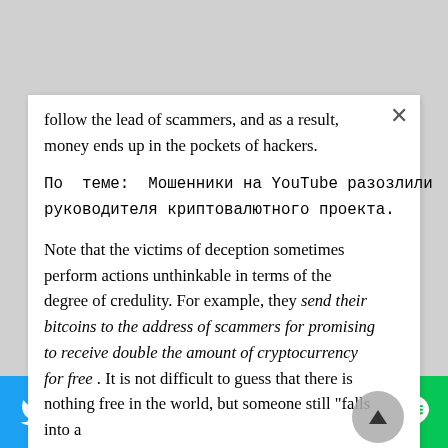follow the lead of scammers, and as a result, money ends up in the pockets of hackers.
По теме: Мошенники на YouTube разозлили руководителя криптовалютного проекта.
Note that the victims of deception sometimes perform actions unthinkable in terms of the degree of credulity. For example, they send their bitcoins to the address of scammers for promising to receive double the amount of cryptocurrency for free . It is not difficult to guess that there is nothing free in the world, but someone still "falls into a
[Figure (other): Social share bar with Twitter, Email, Pinterest, LinkedIn, WhatsApp, and LINE buttons]